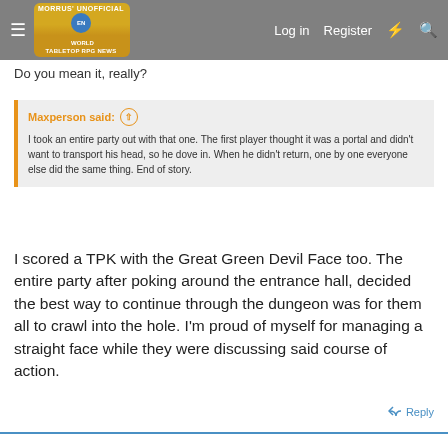Morrus' Unofficial Tabletop RPG News — Log in  Register
Do you mean it, really?
Maxperson said: ↑
I took an entire party out with that one. The first player thought it was a portal and didn't want to transport his head, so he dove in. When he didn't return, one by one everyone else did the same thing. End of story.
I scored a TPK with the Great Green Devil Face too. The entire party after poking around the entrance hall, decided the best way to continue through the dungeon was for them all to crawl into the hole. I'm proud of myself for managing a straight face while they were discussing said course of action.
Reply